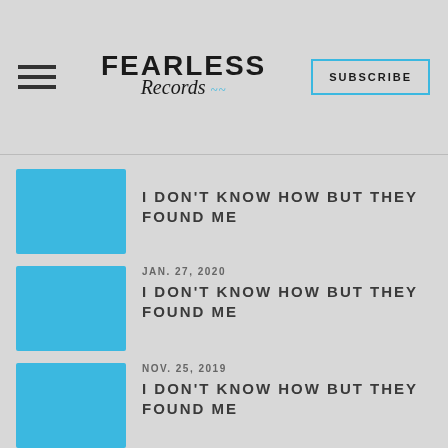[Figure (logo): Fearless Records logo with hamburger menu and Subscribe button]
I DON'T KNOW HOW BUT THEY FOUND ME
JAN. 27, 2020
I DON'T KNOW HOW BUT THEY FOUND ME
NOV. 25, 2019
I DON'T KNOW HOW BUT THEY FOUND ME
NOV. 25, 2019
I DON'T KNOW HOW BUT THEY FOUND ME
NOV. 25, 2019
A O I T I O